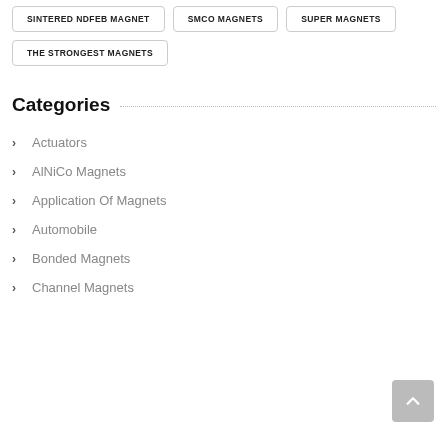SINTERED NDFEB MAGNET
SMCO MAGNETS
SUPER MAGNETS
THE STRONGEST MAGNETS
Categories
Actuators
AlNiCo Magnets
Application Of Magnets
Automobile
Bonded Magnets
Channel Magnets